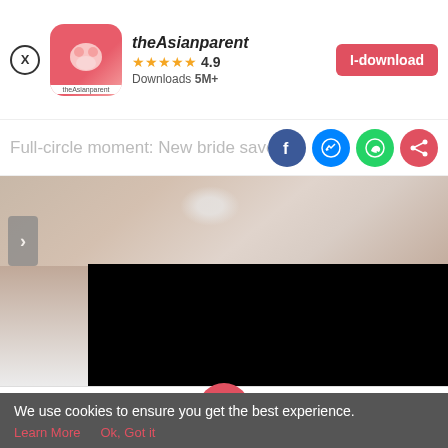[Figure (screenshot): theAsianparent app banner with close button, app icon, name, 4.9 star rating, 5M+ downloads, and red download button]
Full-circle moment: New bride saves :
[Figure (photo): Close-up of hands with wedding ring on white fabric with black overlay on right side and navigation arrow]
[Figure (screenshot): Bottom navigation bar with Tools, Articles, center baby footprint icon, Feed, and Poll]
We use cookies to ensure you get the best experience.
Learn More   Ok, Got it